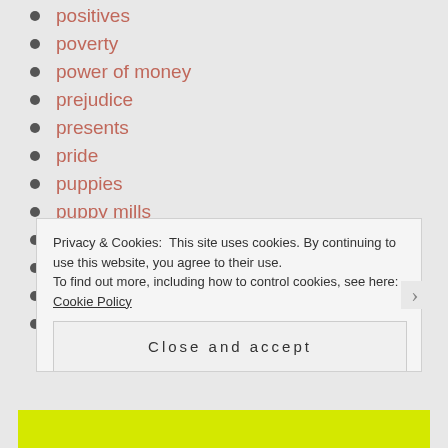positives
poverty
power of money
prejudice
presents
pride
puppies
puppy mills
purpose
qualities
quiet
quotes
Privacy & Cookies: This site uses cookies. By continuing to use this website, you agree to their use.
To find out more, including how to control cookies, see here: Cookie Policy
Close and accept